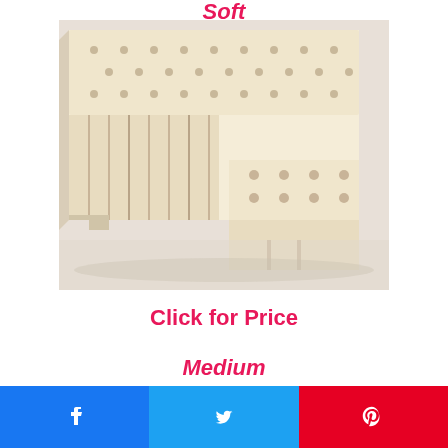Soft
[Figure (photo): Close-up photo of a latex foam mattress topper showing pinhole perforations and layered structure with cutaway view]
Click for Price
Medium
[Figure (photo): Top surface view of a latex foam mattress topper showing pinhole perforations in a cream/beige colored foam]
[Figure (other): Social sharing buttons: Facebook, Twitter, Pinterest]